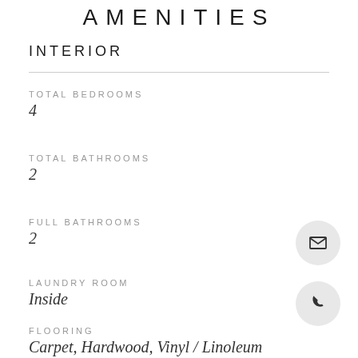AMENITIES
INTERIOR
TOTAL BEDROOMS
4
TOTAL BATHROOMS
2
FULL BATHROOMS
2
LAUNDRY ROOM
Inside
FLOORING
Carpet, Hardwood, Vinyl / Linoleum